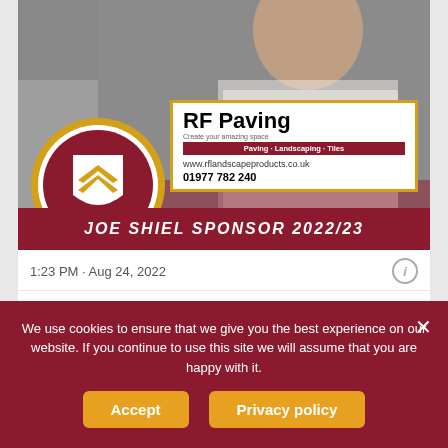[Figure (screenshot): Twitter/X tweet card showing a Huddersfield RUFC player photo with club crest and RF Paving sponsor box overlaid. The sponsor box shows 'RF Paving', 'Paving - Landscaping - Tiles', 'www.rflandscapeproducts.co.uk', '01977 782 240'. A dark red banner reads 'JOE SHIEL SPONSOR 2022/23'. Below: timestamp '1:23 PM · Aug 24, 2022', like count 1, Reply, Copy link actions, and 'Explore what's happening on Twitter' button.]
We use cookies to ensure that we give you the best experience on our website. If you continue to use this site we will assume that you are happy with it.
Accept
Privacy policy